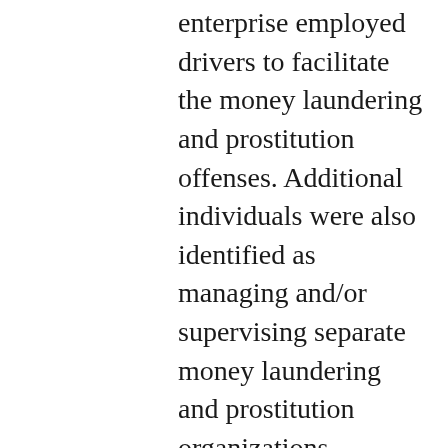enterprise employed drivers to facilitate the money laundering and prostitution offenses. Additional individuals were also identified as managing and/or supervising separate money laundering and prostitution organizations throughout northern New Jersey and in New York.
As previously reported, during the early morning hours of Wednesday, February 3, 2021, over 100 detectives from the Bergen County Prosecutor's Office executed 19 search warrants in Bergen and Hudson Counties, and arrested 21 individuals. One individual, BIRMANIA RINCON, became a fugitive from justice and was believed to be residing in the